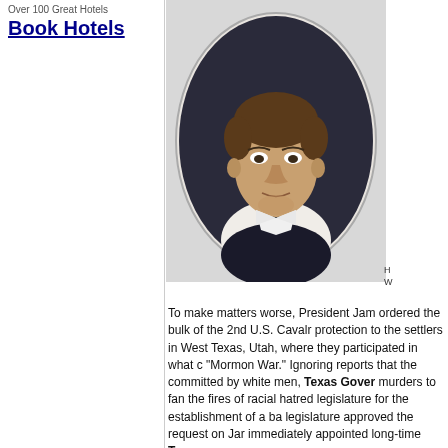Over 100 Great Hotels
Book Hotels
[Figure (photo): Oval portrait of a man in 19th century attire with dark hair, wearing a dark coat and bow tie, serious expression.]
H W
To make matters worse, President Jam ordered the bulk of the 2nd U.S. Cavalr protection to the settlers in West Texas, Utah, where they participated in what c "Mormon War." Ignoring reports that the committed by white men, Texas Gover murders to fan the fires of racial hatred legislature for the establishment of a ba legislature approved the request on Jar immediately appointed long-time Texas